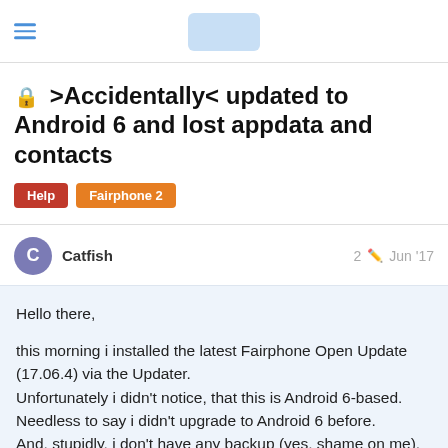navigation header with hamburger menu and logo
🔒 >Accidentally< updated to Android 6 and lost appdata and contacts
Help  Fairphone 2
Catfish   2   Jun 17
Hello there,

this morning i installed the latest Fairphone Open Update (17.06.4) via the Updater.
Unfortunately i didn't notice, that this is Android 6-based.
Needless to say i didn't upgrade to Android 6 before.
And, stupidly, i don't have any backup (yes, shame on me).

Now my phone gets stuck after booting
1 / 5